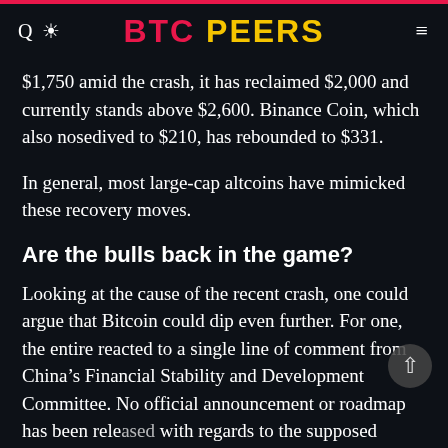BTC PEERS
$1,750 amid the crash, it has reclaimed $2,000 and currently stands above $2,600. Binance Coin, which also nosedived to $210, has rebounded to $331.
In general, most large-cap altcoins have mimicked these recovery moves.
Are the bulls back in the game?
Looking at the cause of the recent crash, one could argue that Bitcoin could dip even further. For one, the entire reacted to a single line of comment from China’s Financial Stability and Development Committee. No official announcement or roadmap has been released with regards to the supposed crackdown.